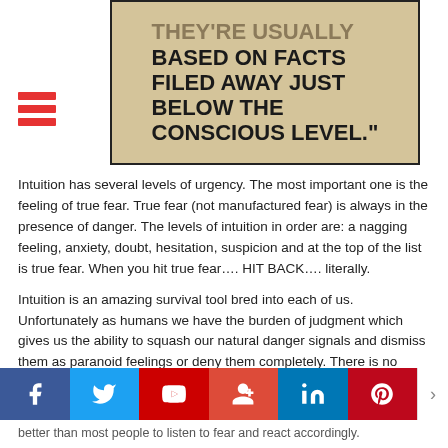[Figure (illustration): Quote image on burlap/kraft background with bold text: 'THEY'RE USUALLY BASED ON FACTS FILED AWAY JUST BELOW THE CONSCIOUS LEVEL.']
Intuition has several levels of urgency. The most important one is the feeling of true fear. True fear (not manufactured fear) is always in the presence of danger. The levels of intuition in order are: a nagging feeling, anxiety, doubt, hesitation, suspicion and at the top of the list is true fear. When you hit true fear.... HIT BACK.... literally.
Intuition is an amazing survival tool bred into each of us. Unfortunately as humans we have the burden of judgment which gives us the ability to squash our natural danger signals and dismiss them as paranoid feelings or deny them completely. There is no other animal in the wild kingdom other than man that when confronted with fear would spend any amount of energy trying to
[Figure (infographic): Social media sharing bar with Facebook, Twitter, YouTube, Google+, LinkedIn, Pinterest buttons]
better than most people to listen to fear and react accordingly.